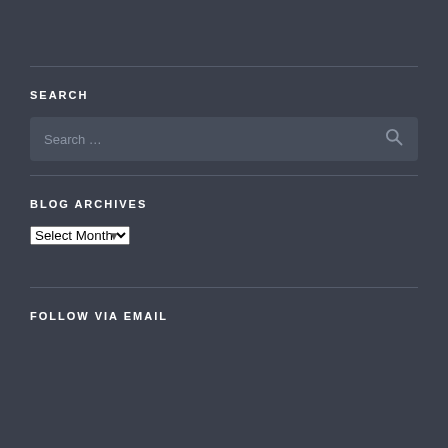SEARCH
[Figure (screenshot): Search input box with placeholder text 'Search ...' and a magnifying glass icon on the right]
BLOG ARCHIVES
[Figure (screenshot): Dropdown select element showing 'Select Month' with a chevron arrow]
FOLLOW VIA EMAIL